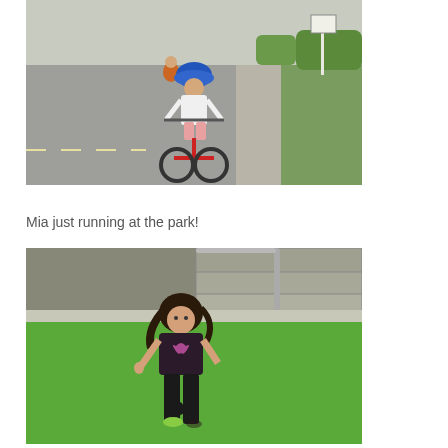[Figure (photo): Child riding a red bicycle on a suburban street, wearing a blue helmet and white shirt, viewed from behind. Another child in orange shirt visible further back. Green grass and sidewalk on the right.]
Mia just running at the park!
[Figure (photo): Young girl with curly dark hair running toward the camera on a green grass lawn. She wears a dark brown t-shirt with a butterfly/flower graphic and black pants. Stone steps and a metal handrail visible in the background.]